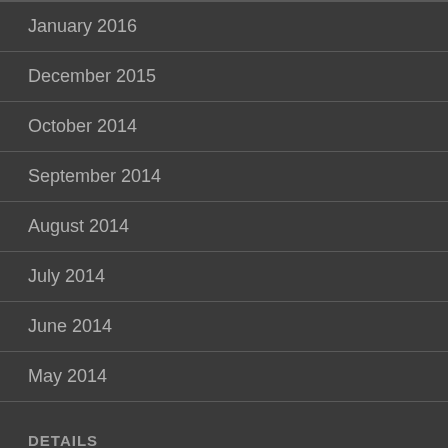January 2016
December 2015
October 2014
September 2014
August 2014
July 2014
June 2014
May 2014
DETAILS
Register
Log in
Entries